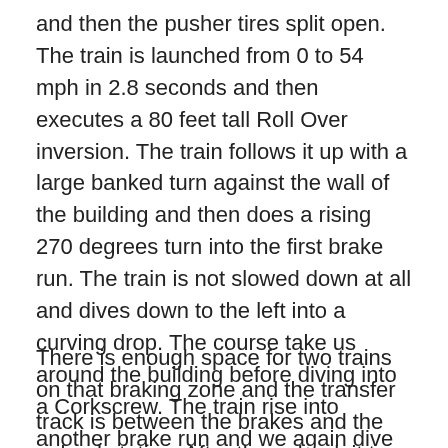and then the pusher tires split open. The train is launched from 0 to 54 mph in 2.8 seconds and then executes a 80 feet tall Roll Over inversion. The train follows it up with a large banked turn against the wall of the building and then does a rising 270 degrees turn into the first brake run. The train is not slowed down at all and dives down to the left into a curving drop. The course take us around the building before diving into a Corkscrew. The train rise into another brake run and we again dive to the left and we go around the lower portion of the building, doing a zero g hill over the launch segment and heading into the final brake run.
There is enough space for two trains on that braking zone and the transfer track is between the brakes and the unload station. After the unload, it turn to the left and go back to load.